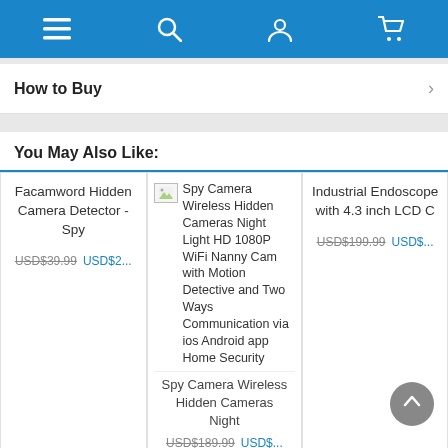Navigation bar with menu, search, account, and cart icons
How to Buy
You May Also Like:
Facamword Hidden Camera Detector - Spy USD$39.99 USD$2...
[Figure (screenshot): Spy Camera Wireless Hidden Cameras Night Light HD 1080P WiFi Nanny Cam with Motion Detective and Two Ways Communication via ios Android app Home Security product image and title, with price USD$189.99 USD$...]
Industrial Endoscope with 4.3 inch LCD C USD$199.99 USD$...